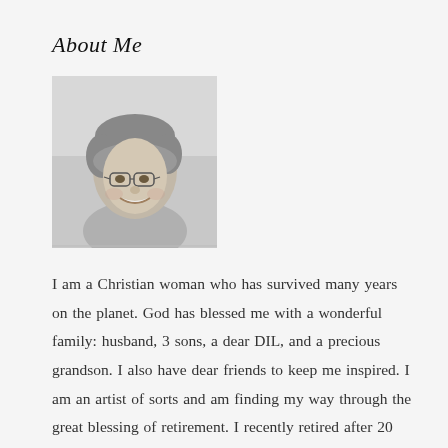About Me
[Figure (photo): Black and white portrait photo of a woman with short hair and glasses, smiling]
I am a Christian woman who has survived many years on the planet. God has blessed me with a wonderful family: husband, 3 sons, a dear DIL, and a precious grandson. I also have dear friends to keep me inspired. I am an artist of sorts and am finding my way through the great blessing of retirement. I recently retired after 20 years as a music